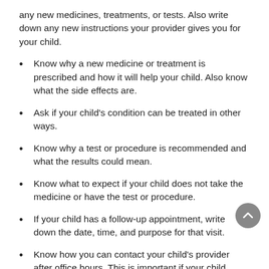any new medicines, treatments, or tests. Also write down any new instructions your provider gives you for your child.
Know why a new medicine or treatment is prescribed and how it will help your child. Also know what the side effects are.
Ask if your child’s condition can be treated in other ways.
Know why a test or procedure is recommended and what the results could mean.
Know what to expect if your child does not take the medicine or have the test or procedure.
If your child has a follow-up appointment, write down the date, time, and purpose for that visit.
Know how you can contact your child’s provider after office hours. This is important if your child becomes ill and you have questions or need advice.